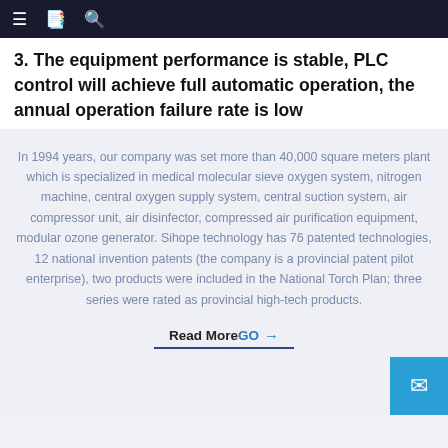≡  📋  🔍
3. The equipment performance is stable, PLC control will achieve full automatic operation, the annual operation failure rate is low
In 1994 years, our company was set more than 40,000 square meters plant which is specialized in medical molecular sieve oxygen system, nitrogen machine, central oxygen supply system, central suction system, air compressor unit, air disinfector, compressed air purification equipment, modular ozone generator. Sihope technology has 76 patented technologies, 12 national invention patents (the company is a provincial patent pilot enterprise), two products were included in the National Torch Plan; three series were rated as provincial high-tech products.
Read MoreGO →